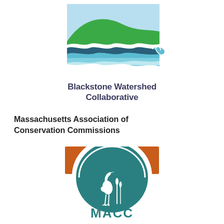[Figure (logo): Blackstone Watershed Collaborative logo: stylized green hills and blue water waves]
Blackstone Watershed Collaborative
Massachusetts Association of Conservation Commissions
[Figure (logo): MACC logo: teal circle with white heron bird, orange rectangle at top, MACC text below]